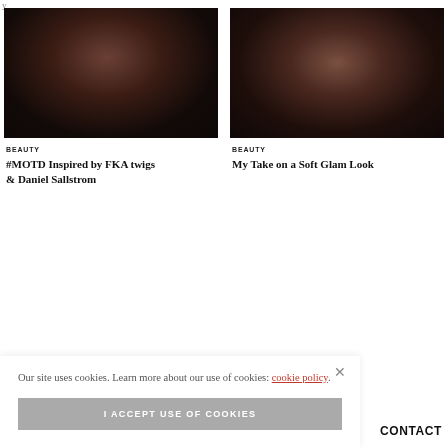y
[Figure (photo): Blurry dark portrait photo of a person, left card]
BEAUTY
#MOTD Inspired by FKA twigs & Daniel Sallstrom
[Figure (photo): Blurry dark portrait photo of a person, right card]
BEAUTY
My Take on a Soft Glam Look
Our site uses cookies. Learn more about our use of cookies: cookie policy.
I ACCEPT USE OF COOKIES
CONTACT